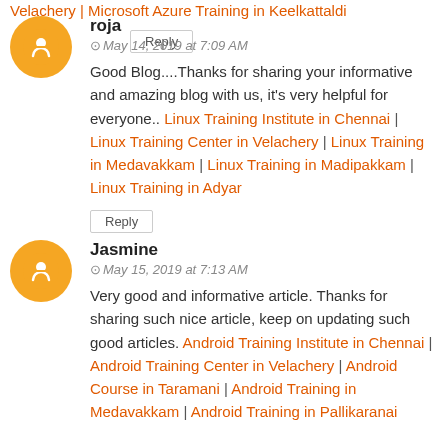Velachery | Microsoft Azure Training in Keelkattaldi
Reply
roja
May 14, 2019 at 7:09 AM
Good Blog....Thanks for sharing your informative and amazing blog with us, it's very helpful for everyone.. Linux Training Institute in Chennai | Linux Training Center in Velachery | Linux Training in Medavakkam | Linux Training in Madipakkam | Linux Training in Adyar
Reply
Jasmine
May 15, 2019 at 7:13 AM
Very good and informative article. Thanks for sharing such nice article, keep on updating such good articles. Android Training Institute in Chennai | Android Training Center in Velachery | Android Course in Taramani | Android Training in Medavakkam | Android Training in Pallikaranai